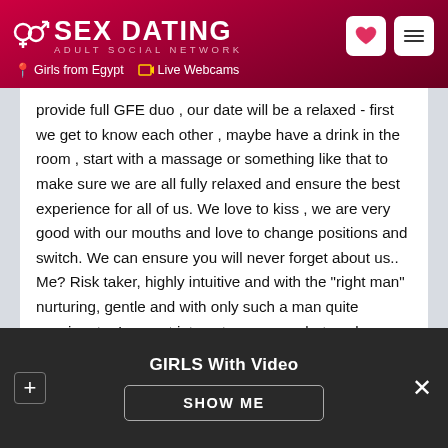SEX DATING ADULT SOCIAL NETWORK — Girls from Egypt | Live Webcams
provide full GFE duo , our date will be a relaxed - first we get to know each other , maybe have a drink in the room , start with a massage or something like that to make sure we are all fully relaxed and ensure the best experience for all of us. We love to kiss , we are very good with our mouths and love to change positions and switch. We can ensure you will never forget about us.. Me? Risk taker, highly intuitive and with the "right man" nurturing, gentle and with only such a man quite passionate. I am not into extravagance, but seek peace and joy. I have a passion for life, nature, people and animals which I hope to share with my future partner. I sometimes can be quite chatty, but when in nature or by the ocean or sitting by my creek or alone with wildlife: there will not be a beep out of me! Same for when I am with you and just...
GIRLS With Video — SHOW ME